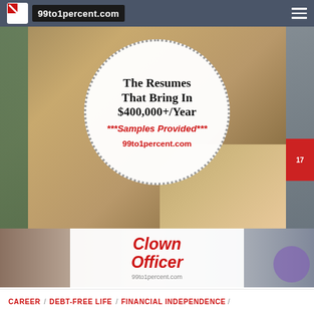99to1percent.com
[Figure (screenshot): Website screenshot showing a hero image with a circular badge overlay. The badge has dotted border and reads: 'The Resumes That Bring In $400,000+/Year ***Samples Provided*** 99to1percent.com'. Background shows a hand writing with a pen on paper.]
[Figure (illustration): Card image with text 'Clown Officer' in bold red italic font on white card overlay, with '99to1percent.com' below in gray. Background shows people in business attire.]
CAREER / DEBT-FREE LIFE / FINANCIAL INDEPENDENCE /